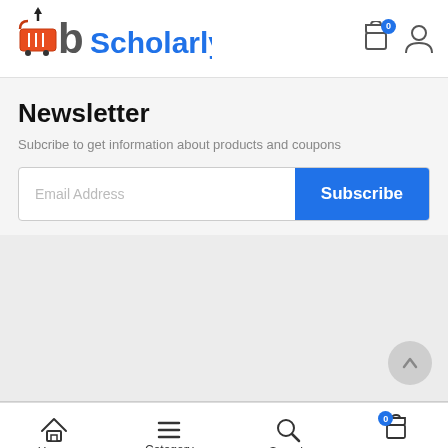[Figure (logo): bScholarly e-commerce logo with shopping cart icon in orange/red, bold letter 'b' in dark grey, and 'Scholarly' in blue text]
[Figure (other): Header icons: shopping bag with badge showing 0, and user account icon]
Newsletter
Subcribe to get information about products and coupons
[Figure (other): Email address input field with Subscribe button in blue]
Home  Category  Search  Cart